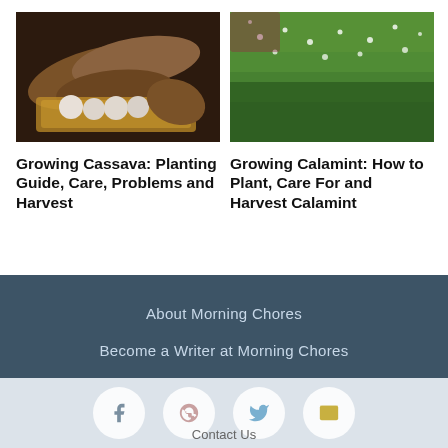[Figure (photo): Brown cassava roots in a wicker basket with sliced cassava pieces on a wooden surface]
Growing Cassava: Planting Guide, Care, Problems and Harvest
[Figure (photo): Green calamint herb plant with small white flowers growing in a garden]
Growing Calamint: How to Plant, Care For and Harvest Calamint
About Morning Chores
Become a Writer at Morning Chores
Contact Us